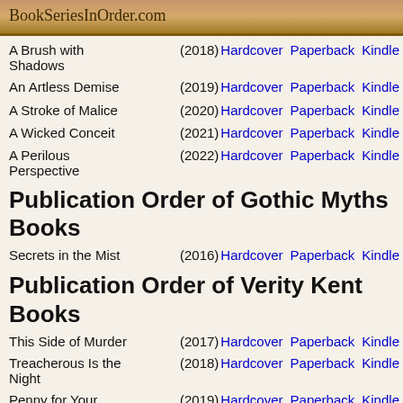BookSeriesInOrder.com
A Brush with Shadows (2018) Hardcover Paperback Kindle
An Artless Demise (2019) Hardcover Paperback Kindle
A Stroke of Malice (2020) Hardcover Paperback Kindle
A Wicked Conceit (2021) Hardcover Paperback Kindle
A Perilous Perspective (2022) Hardcover Paperback Kindle
Publication Order of Gothic Myths Books
Secrets in the Mist (2016) Hardcover Paperback Kindle
Publication Order of Verity Kent Books
This Side of Murder (2017) Hardcover Paperback Kindle
Treacherous Is the Night (2018) Hardcover Paperback Kindle
Penny for Your (2019) Hardcover Paperback Kindle